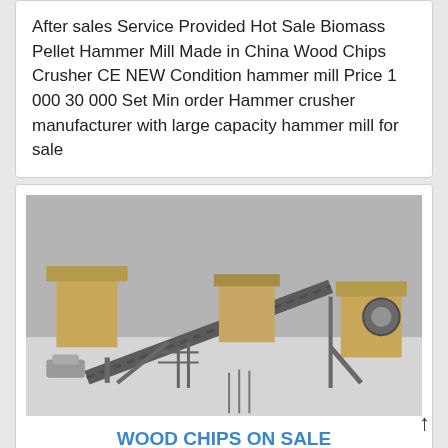After sales Service Provided Hot Sale Biomass Pellet Hammer Mill Made in China Wood Chips Crusher CE NEW Condition hammer mill Price 1 000 30 000 Set Min order Hammer crusher manufacturer with large capacity hammer mill for sale
[Figure (photo): Industrial crushing/mining plant facility with conveyors, yellow machinery, and structural steel in a dusty/snowy outdoor environment]
WOOD CHIPS ON SALE CHINA QUALITY WOOD